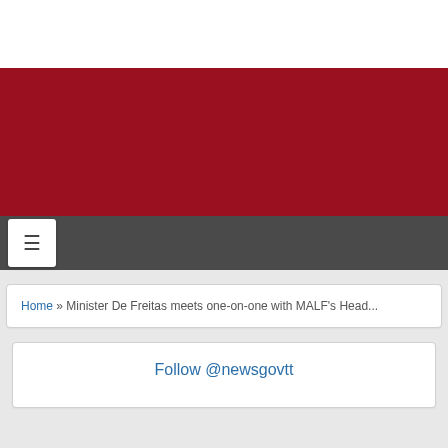[Figure (other): White top area of website header]
[Figure (other): Red banner area of website header for newsgovtt government news site]
[Figure (other): Dark grey navigation bar with white hamburger menu button]
Home » Minister De Freitas meets one-on-one with MALF's Head...
Follow @newsgovtt